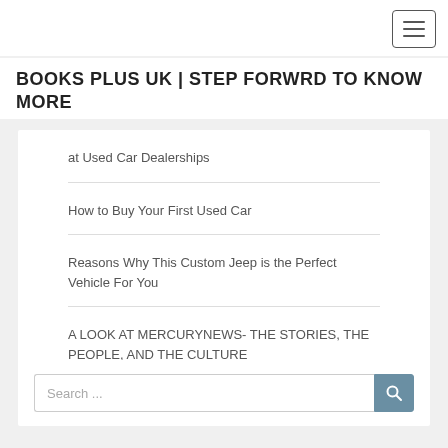BOOKS PLUS UK | STEP FORWRD TO KNOW MORE
at Used Car Dealerships
How to Buy Your First Used Car
Reasons Why This Custom Jeep is the Perfect Vehicle For You
A LOOK AT MERCURYNEWS- THE STORIES, THE PEOPLE, AND THE CULTURE
Search ...